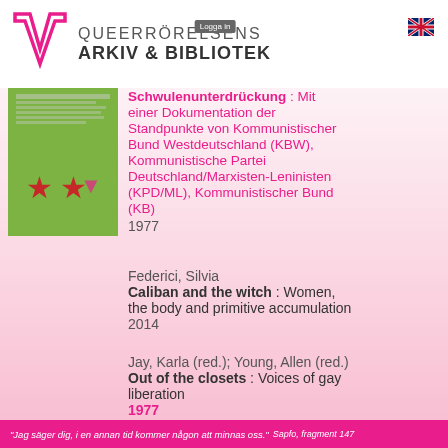[Figure (logo): Queerrörelsens Arkiv & Bibliotek logo with pink/magenta W-shape icon and text]
Logga in
[Figure (illustration): UK flag icon]
[Figure (photo): Book cover with green background and three red stars]
Schwulenunterdrückung : Mit einer Dokumentation der Standpunkte von Kommunistischer Bund Westdeutschland (KBW), Kommunistische Partei Deutschland/Marxisten-Leninisten (KPD/ML), Kommunistischer Bund (KB)
1977
Federici, Silvia
Caliban and the witch : Women, the body and primitive accumulation
2014
Jay, Karla (red.); Young, Allen (red.)
Out of the closets : Voices of gay liberation
1977
"Jag säger dig, i en annan tid kommer någon att minnas oss." Sapfo, fragment 147